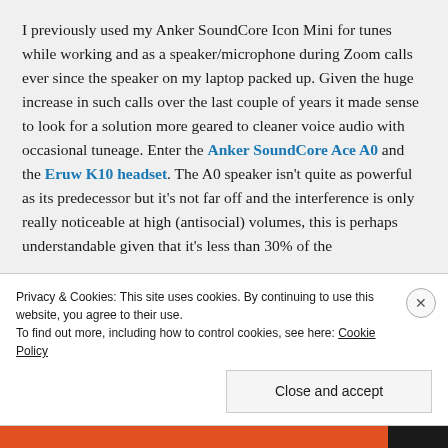I previously used my Anker SoundCore Icon Mini for tunes while working and as a speaker/microphone during Zoom calls ever since the speaker on my laptop packed up. Given the huge increase in such calls over the last couple of years it made sense to look for a solution more geared to cleaner voice audio with occasional tuneage. Enter the Anker SoundCore Ace A0 and the Eruw K10 headset. The A0 speaker isn't quite as powerful as its predecessor but it's not far off and the interference is only really noticeable at high (antisocial) volumes, this is perhaps understandable given that it's less than 30% of the
Privacy & Cookies: This site uses cookies. By continuing to use this website, you agree to their use. To find out more, including how to control cookies, see here: Cookie Policy
Close and accept